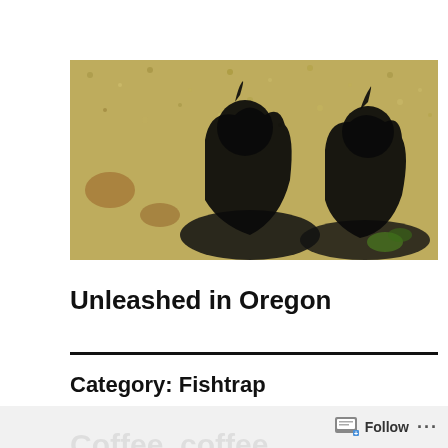[Figure (photo): Photo showing two bird shadows cast on a grass/gravel ground surface, appearing as dark silhouettes of two birds with crests or features on their heads.]
Unleashed in Oregon
Category: Fishtrap
Coffee, coffee
Follow ...